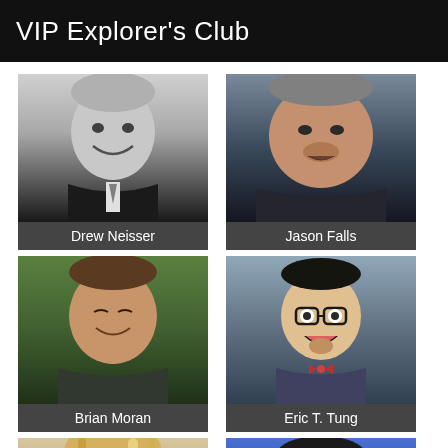VIP Explorer's Club
[Figure (photo): Headshot of Drew Neisser, grayscale photo of smiling older man in suit]
Drew Neisser
[Figure (photo): Headshot of Jason Falls, color photo of heavy-set man with goatee]
Jason Falls
[Figure (photo): Headshot of Brian Moran, color photo of man smiling outdoors]
Brian Moran
[Figure (photo): Headshot of Eric T. Tung, color photo of man with glasses and red bow tie, excited expression]
Eric T. Tung
[Figure (photo): Headshot of woman with blonde hair, partially visible]
[Figure (photo): Headshot of man with glasses on blue background, partially visible]